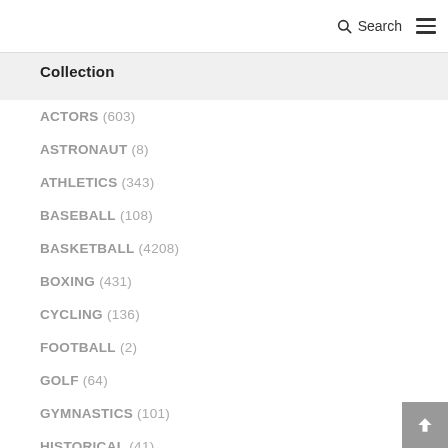Search ☰
Collection
ACTORS (603)
ASTRONAUT (8)
ATHLETICS (343)
BASEBALL (108)
BASKETBALL (4208)
BOXING (431)
CYCLING (136)
FOOTBALL (2)
GOLF (64)
GYMNASTICS (101)
HISTORICAL (41)